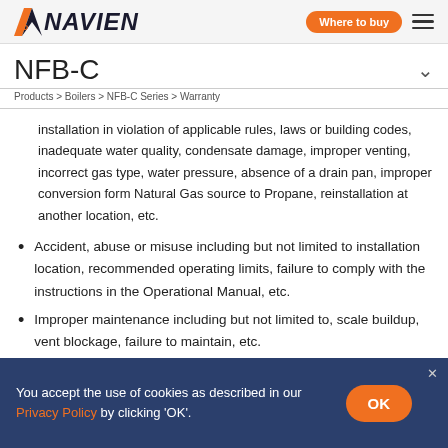Navien | Where to buy
NFB-C
Products > Boilers > NFB-C Series > Warranty
installation in violation of applicable rules, laws or building codes, inadequate water quality, condensate damage, improper venting, incorrect gas type, water pressure, absence of a drain pan, improper conversion form Natural Gas source to Propane, reinstallation at another location, etc.
Accident, abuse or misuse including but not limited to installation location, recommended operating limits, failure to comply with the instructions in the Operational Manual, etc.
Improper maintenance including but not limited to, scale buildup, vent blockage, failure to maintain, etc.
You accept the use of cookies as described in our Privacy Policy by clicking 'OK'.